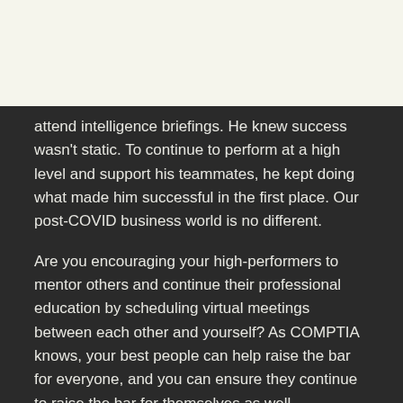attend intelligence briefings. He knew success wasn't static. To continue to perform at a high level and support his teammates, he kept doing what made him successful in the first place. Our post-COVID business world is no different.
Are you encouraging your high-performers to mentor others and continue their professional education by scheduling virtual meetings between each other and yourself? As COMPTIA knows, your best people can help raise the bar for everyone, and you can ensure they continue to raise the bar for themselves as well.
More about Shawn and his work with companies in navigating change can be found at